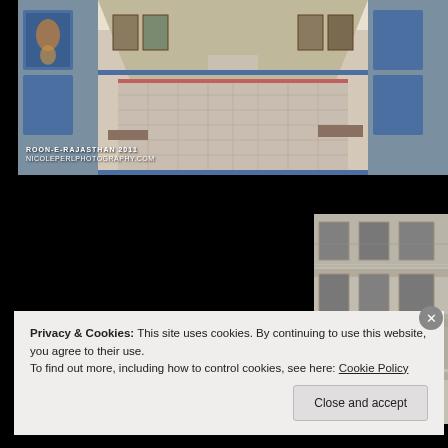[Figure (photo): Interior of an ornately decorated Indian palace hall (likely Rajasthan) with blue and white painted walls, floral motifs, framed paintings, and an elaborate patterned marble floor stretching into the distance. Watermark text reads 'ROON-E-RAJASTHAN 2011' with a website URL.]
[Figure (photo): Close-up of an ornate architectural detail showing intricate carved and decorated wall/ceiling surface with floral patterns, mirrors, and gilded moldings in Indian palace style.]
Privacy & Cookies: This site uses cookies. By continuing to use this website, you agree to their use.
To find out more, including how to control cookies, see here: Cookie Policy